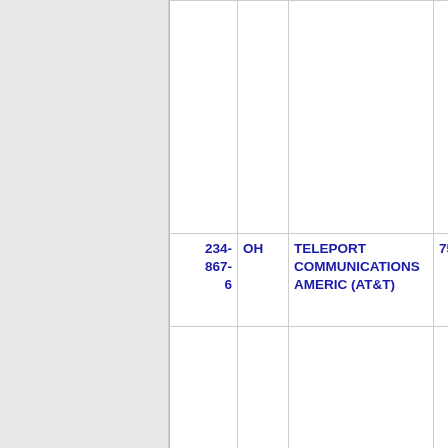| Number | State | Name | Code |
| --- | --- | --- | --- |
|  |  |  |  |
| 234-867-6 | OH | TELEPORT COMMUNICATIONS AMERIC (AT&T) | 75 |
| 234-867-7 | OH | TELEPORT COMMUNICATIONS AMERIC (AT&T) | 75 |